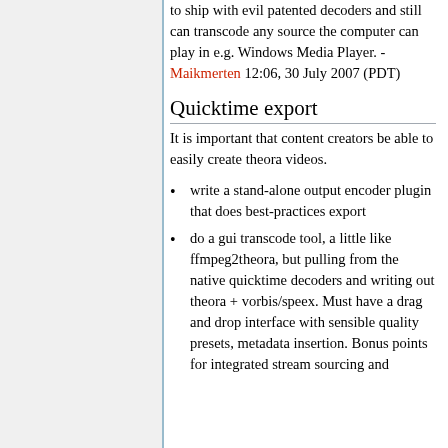to ship with evil patented decoders and still can transcode any source the computer can play in e.g. Windows Media Player. - Maikmerten 12:06, 30 July 2007 (PDT)
Quicktime export
It is important that content creators be able to easily create theora videos.
write a stand-alone output encoder plugin that does best-practices export
do a gui transcode tool, a little like ffmpeg2theora, but pulling from the native quicktime decoders and writing out theora + vorbis/speex. Must have a drag and drop interface with sensible quality presets, metadata insertion. Bonus points for integrated stream sourcing and